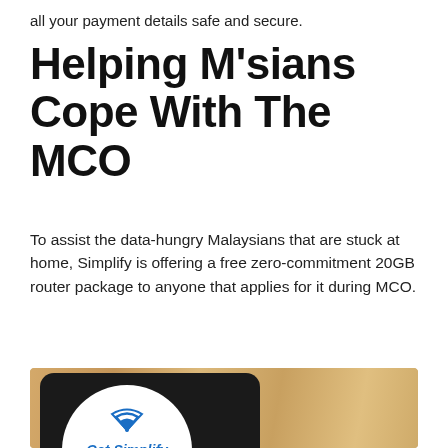all your payment details safe and secure.
Helping M’sians Cope With The MCO
To assist the data-hungry Malaysians that are stuck at home, Simplify is offering a free zero-commitment 20GB router package to anyone that applies for it during MCO.
[Figure (photo): A black mobile Wi-Fi router device on a wooden table surface, featuring a white circular sticker that reads 'Get Simplify Wi-Fi Here' in blue italic text with a Wi-Fi icon and a Google Play badge.]